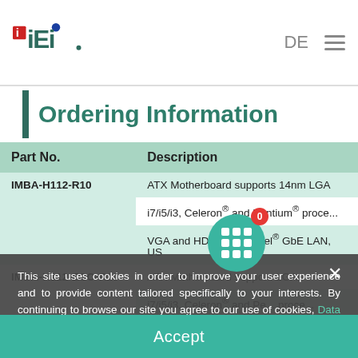iEi | DE ☰
Ordering Information
| Part No. | Description |
| --- | --- |
| IMBA-H112-R10 | ATX Motherboard supports 14nm LGA i7/i5/i3, Celeron® and Pentium® processors, VGA and HDMI, Dual Intel® GbE LAN, US... |
| IMBA-H112-ECO-R10 | ATX Motherboard supports LGA i7/i5/i3, Celeron® and Pentium® processors, VGA and HDMI, Dual Intel® GbE LAN, US... |
This site uses cookies in order to improve your user experience and to provide content tailored specifically to your interests. By continuing to browse our site you agree to our use of cookies, Data Privacy Notice and Terms of Use.
Accept